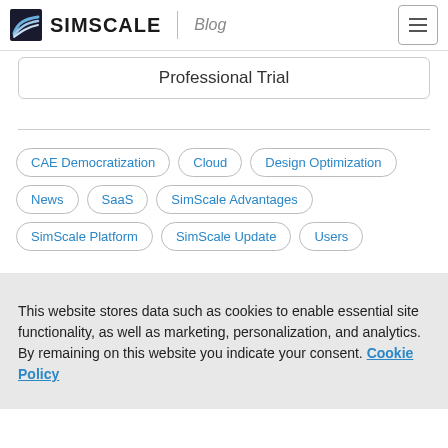SIMSCALE Blog
Professional Trial
CAE Democratization
Cloud
Design Optimization
News
SaaS
SimScale Advantages
SimScale Platform
SimScale Update
Users
This website stores data such as cookies to enable essential site functionality, as well as marketing, personalization, and analytics. By remaining on this website you indicate your consent. Cookie Policy